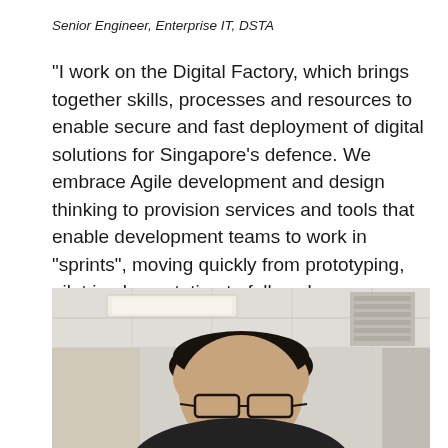Senior Engineer, Enterprise IT, DSTA
“I work on the Digital Factory, which brings together skills, processes and resources to enable secure and fast deployment of digital solutions for Singapore’s defence. We embrace Agile development and design thinking to provision services and tools that enable development teams to work in “sprints”, moving quickly from prototyping, pilot implementation to full-scale development.”
[Figure (photo): Photo of a young Asian man with short dark hair wearing glasses and a dark top, smiling at the camera. He is in an office environment with ceiling tiles and an air conditioning vent visible in the background.]